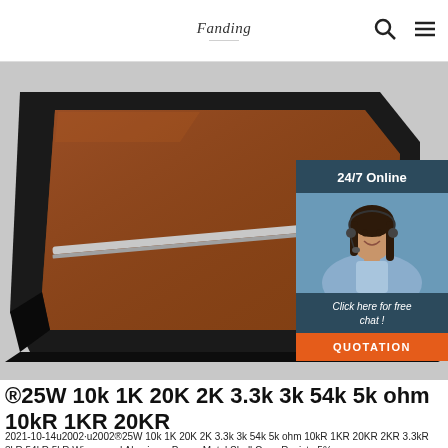Fanding [logo] | search icon | menu icon
[Figure (photo): Product photo of a brown leather-covered binder/notebook in a black case, shown at an angle. Overlaid with a 24/7 online chat widget featuring a customer service representative with a headset, a 'Click here for free chat!' message, and an orange QUOTATION button.]
®25W 10k 1K 20K 2K 3.3k 3k 54k 5k ohm 10kR 1KR 20KR
2021-10-14u2002·u2002®25W 10k 1K 20K 2K 3.3k 3k 54k 5k ohm 10kR 1KR 20KR 2KR 3.3kR 3kR 54kR 5kR Wirewound Aluminum Power Metal Shell Case Resista 5%